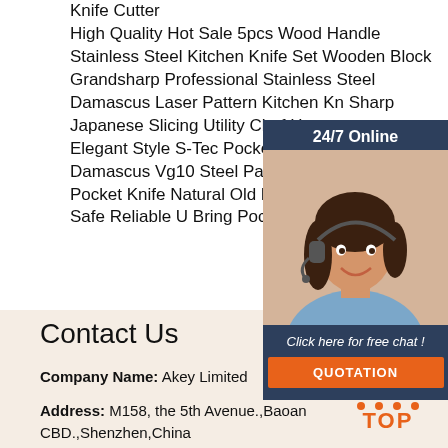Knife Cutter
High Quality Hot Sale 5pcs Wood Handle Stainless Steel Kitchen Knife Set Wooden Block
Grandsharp Professional Stainless Steel Damascus Laser Pattern Kitchen Kn Sharp Japanese Slicing Utility Chef Hot
Elegant Style S-Tec Pocket Knife
Damascus Vg10 Steel Pattern Foldi
Pocket Knife Natural Old Ebony Wo Handle Knife
Safe Reliable U Bring Pocket Knife
[Figure (photo): Chat widget with 24/7 Online label, photo of a woman with headset smiling, 'Click here for free chat!' text, and orange QUOTATION button]
Contact Us
Company Name: Akey Limited
Address: M158, the 5th Avenue.,Baoan CBD.,Shenzhen,China
[Figure (logo): TOP button icon with orange dot triangle and TOP text in orange]